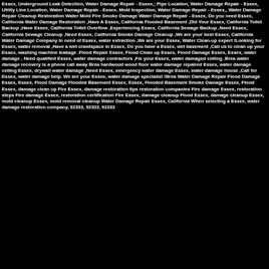Essex, Underground Leak Detection, Water Damage Repair - Essex,; Pipe Location, Water Damage Repair - Essex, Utility Line Location, Water Damage Repair - Essex, Mold Inspection, Water Damage Repair - Essex,, Water Damage Repair Cleanup Restoration Water Mold Fire Smoke Damage Water Damage Repair - Essex, Do you need Essex, California Water Damage Restoration ,Have A Essex, California Flooded Basement ,Did Your Essex, California Toilet Backup ,Have Essex, California Toilet Overflow ,Experiencing Essex, California Sewage Backup ,Need Essex, California Sewage Cleanup ,Need Essex, California Smoke Damage Cleanup ,We are your best Essex, California Water Damage Company In need of Essex, water extraction ,We are your Essex, Water Clean-up expert !Looking for Essex, water removal ,Have a wet crawlspace in Essex, Do you have a Essex, wet basement ,Call us to clean up your Essex, washing machine leakage .Flood Repair Essex, Flood Clean up Essex, Flood Damage Essex, Essex, water damage , Need qualified Essex, water damage contractors ,Fix your Essex, water damaged ceiling .Brea water damage recovery is a phone call away Brea hardwood wood floor water damage repaired Essex, water damage ceiling Essex, drywall water damage ,Need Essex, emergency water damage Essex, water damage house ,Call for Essex, water damage help. We are your Essex, water damage specialist !Brea Water Damage Repair Flood Damage Essex, Essex, Flood Damage Flooded Basement Essex, Essex, Flooded Basement Smoke Damage Essex, Flood Essex, damage clean up Fire Essex, damage restoration tips restoration companies Fire damage Essex, restoration steps Fire damage Essex, restoration certification Fire Essex, damage cleanup Flood Essex, damage cleanup Essex, mold cleanup Essex, mold removal cleanup Water Damage Repair Essex, California When selecting a Essex, water damage restoration company, 92333, 92333, 92333